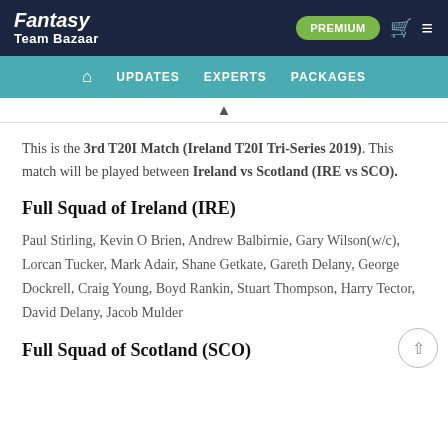Fantasy Team Bazaar — PREMIUM | UPDATES | EXPERTS | PACKAGES
This is the 3rd T20I Match (Ireland T20I Tri-Series 2019). This match will be played between Ireland vs Scotland (IRE vs SCO).
Full Squad of Ireland (IRE)
Paul Stirling, Kevin O Brien, Andrew Balbirnie, Gary Wilson(w/c), Lorcan Tucker, Mark Adair, Shane Getkate, Gareth Delany, George Dockrell, Craig Young, Boyd Rankin, Stuart Thompson, Harry Tector, David Delany, Jacob Mulder
Full Squad of Scotland (SCO)